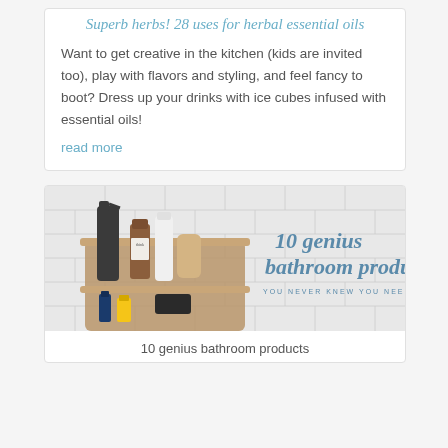Superb herbs! 28 uses for herbal essential oils
Want to get creative in the kitchen (kids are invited too), play with flavors and styling, and feel fancy to boot? Dress up your drinks with ice cubes infused with essential oils!
read more
[Figure (photo): Photo of a wooden bathroom caddy/shelf with a spray bottle, cleaning products, brush and other bathroom items arranged against a white subway tile background. Overlaid script text reads '10 genius bathroom products' and smaller spaced-caps text reads 'YOU NEVER KNEW YOU NEEDED']
10 genius bathroom products